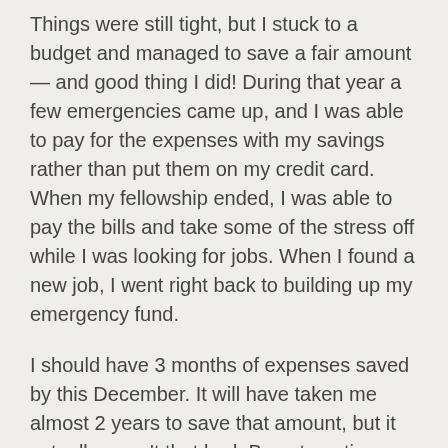Things were still tight, but I stuck to a budget and managed to save a fair amount — and good thing I did! During that year a few emergencies came up, and I was able to pay for the expenses with my savings rather than put them on my credit card. When my fellowship ended, I was able to pay the bills and take some of the stress off while I was looking for jobs. When I found a new job, I went right back to building up my emergency fund.
I should have 3 months of expenses saved by this December. It will have taken me almost 2 years to save that amount, but it actually wasn't that bad. By automating my savings and choosing a generous but realistic amount to save each month, I have managed to build an emergency fund without eating ramen.
I have already needed to use my emergency fund. I am